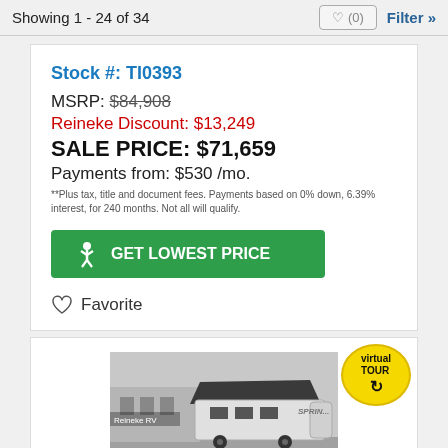Showing 1 - 24 of 34
Stock #: TI0393
MSRP: $84,908
Reineke Discount: $13,249
SALE PRICE: $71,659
Payments from: $530 /mo.
**Plus tax, title and document fees. Payments based on 0% down, 6.39% interest, for 240 months. Not all will qualify.
GET LOWEST PRICE
Favorite
[Figure (photo): RV / fifth-wheel trailer parked at Reineke RV dealership lot, with an awning extended, shown from the front-side angle. A building is visible in the background.]